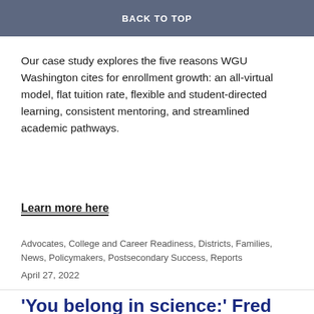four-year institutions and enrollment declines during the same time period.
Our case study explores the five reasons WGU Washington cites for enrollment growth: an all-virtual model, flat tuition rate, flexible and student-directed learning, consistent mentoring, and streamlined academic pathways.
Learn more here
Advocates, College and Career Readiness, Districts, Families, News, Policymakers, Postsecondary Success, Reports
April 27, 2022
'You belong in science:' Fred Hutch builds education